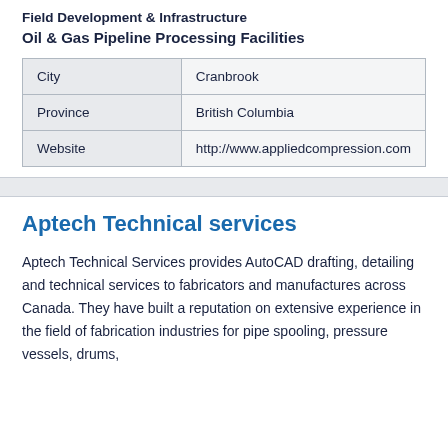Field Development & Infrastructure
Oil & Gas Pipeline Processing Facilities
| City | Cranbrook |
| Province | British Columbia |
| Website | http://www.appliedcompression.com |
Aptech Technical services
Aptech Technical Services provides AutoCAD drafting, detailing and technical services to fabricators and manufactures across Canada. They have built a reputation on extensive experience in the field of fabrication industries for pipe spooling, pressure vessels, drums,